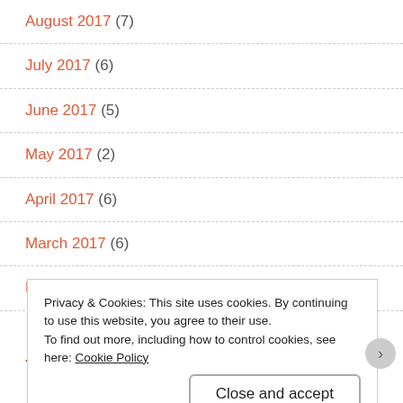August 2017 (7)
July 2017 (6)
June 2017 (5)
May 2017 (2)
April 2017 (6)
March 2017 (6)
February 2017 (5)
January 2017 (7)
Privacy & Cookies: This site uses cookies. By continuing to use this website, you agree to their use.
To find out more, including how to control cookies, see here: Cookie Policy
Close and accept